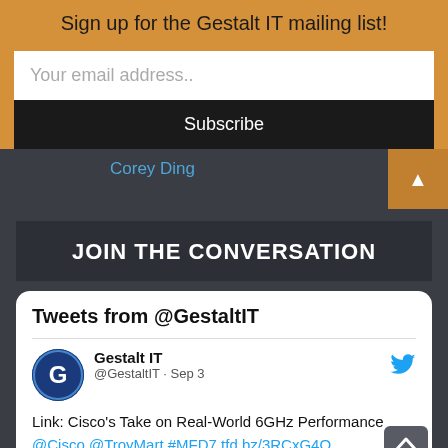Sign up for the Gestalt IT mailing list!
Your email address..
Subscribe
Corey Ding
JOIN THE CONVERSATION
Tweets from @GestaltIT
Gestalt IT @GestaltIT · Sep 3
Link: Cisco's Take on Real-World 6GHz Performance @Cisco @TroyMart #MFD7 tfd.bz/3RCxG4O